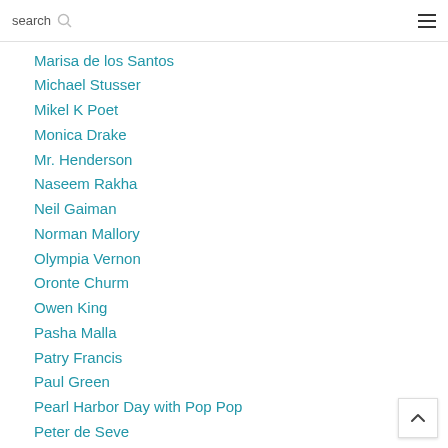search
Marisa de los Santos
Michael Stusser
Mikel K Poet
Monica Drake
Mr. Henderson
Naseem Rakha
Neil Gaiman
Norman Mallory
Olympia Vernon
Oronte Churm
Owen King
Pasha Malla
Patry Francis
Paul Green
Pearl Harbor Day with Pop Pop
Peter de Seve
Pia Z. Ehrhardt